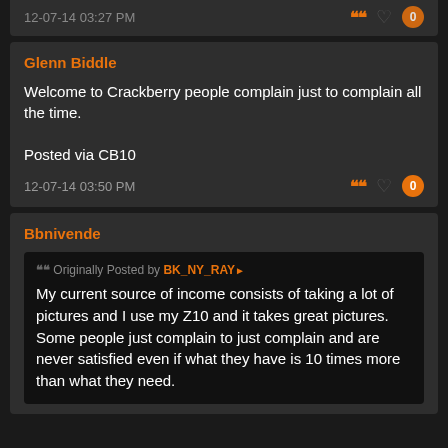12-07-14 03:27 PM
Glenn Biddle
Welcome to Crackberry people complain just to complain all the time.

Posted via CB10
12-07-14 03:50 PM
Bbnivende
Originally Posted by BK_NY_RAY
My current source of income consists of taking a lot of pictures and I use my Z10 and it takes great pictures. Some people just complain to just complain and are never satisfied even if what they have is 10 times more than what they need.